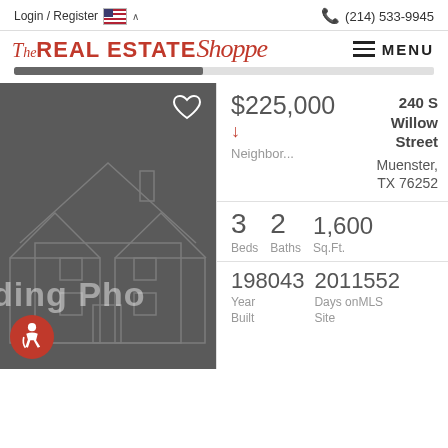Login / Register  (214) 533-9945
[Figure (logo): The Real Estate Shoppe logo in red italic script]
MENU
[Figure (photo): Loading property photo placeholder with house silhouette on dark background, text 'ding Pho' visible]
$225,000
240 S Willow Street
↓
Neighbor...
Muenster, TX 76252
3 Beds  2 Baths  1,600 Sq.Ft.
198043 Year Built  2011552 Days on Site MLS